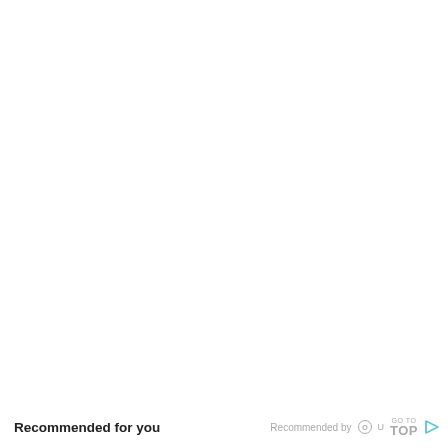Recommended for you  Recommended by [icon] GO TO TOP [icon]